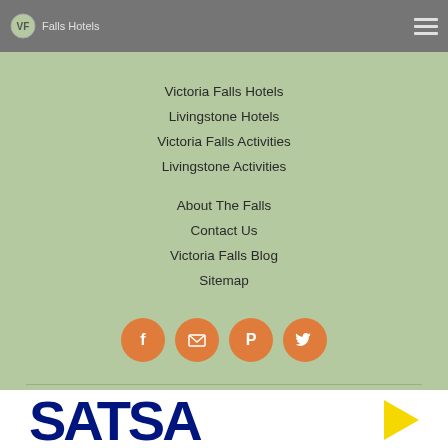Falls Hotel navigation header with logo and hamburger menu
Victoria Falls Hotels
Livingstone Hotels
Victoria Falls Activities
Livingstone Activities
About The Falls
Contact Us
Victoria Falls Blog
Sitemap
[Figure (infographic): Four orange social media icon circles: Facebook, Email, Pinterest, Twitter]
[Figure (logo): SATSA logo with blue text and yellow arrow triangle]